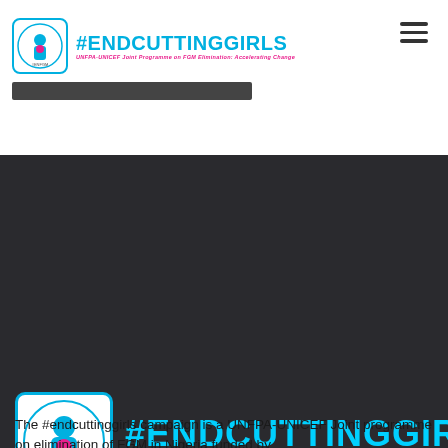[Figure (logo): #ENDCUTTINGGIRLS UNFPA-UNICEF Joint Programme on FGM Elimination: Accelerating Change logo in header]
[Figure (logo): #ENDCUTTINGGIRLS UNFPA-UNICEF Joint Programme on FGM Elimination: Accelerating Change large logo on dark background]
The #endcuttinggirls campaign is a UNFPA-UNICEF Joint programme on elimination of FGM in Nigeria funded by